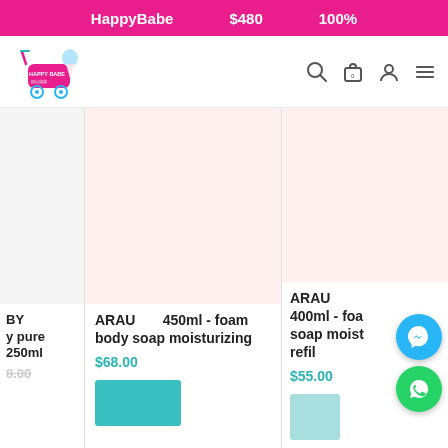HappyBabe   $480   100%
[Figure (logo): HappyBabe logo with baby stroller, pink and teal colors, Chinese text]
ARAU 450ml - foam body soap moisturizing
$68.00
ARAU 400ml - foam body soap moisturizing refill
$55.00